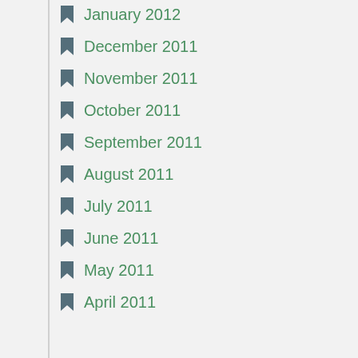January 2012
December 2011
November 2011
October 2011
September 2011
August 2011
July 2011
June 2011
May 2011
April 2011